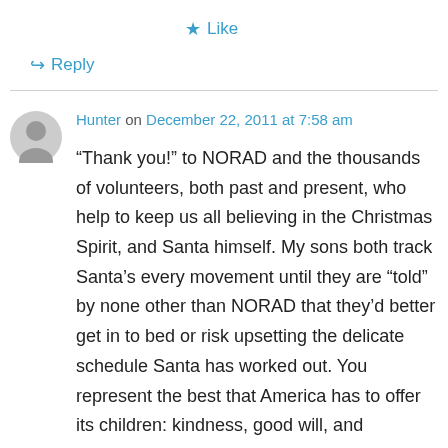★ Like
↪ Reply
Hunter on December 22, 2011 at 7:58 am
“Thank you!” to NORAD and the thousands of volunteers, both past and present, who help to keep us all believing in the Christmas Spirit, and Santa himself. My sons both track Santa’s every movement until they are “told” by none other than NORAD that they’d better get in to bed or risk upsetting the delicate schedule Santa has worked out. You represent the best that America has to offer its children: kindness, good will, and “guarding what matters most.” Merry Christmas to you all.